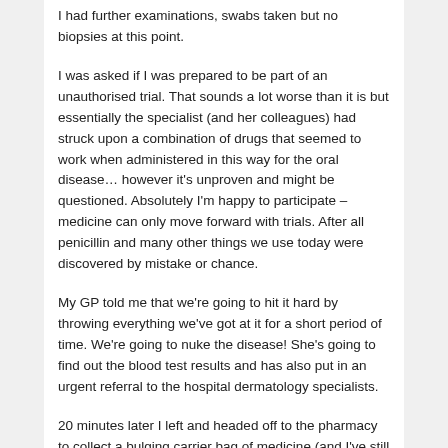I had further examinations, swabs taken but no biopsies at this point.
I was asked if I was prepared to be part of an unauthorised trial.  That sounds a lot worse than it is but essentially the specialist (and her colleagues) had struck upon a combination of drugs that seemed to work when administered in this way for the oral disease… however it's unproven and might be questioned.  Absolutely I'm happy to participate – medicine can only move forward with trials.  After all penicillin and many other things we use today were discovered by mistake or chance.
My GP told me that we're going to hit it hard by throwing everything we've got at it for a short period of time.  We're going to nuke the disease!  She's going to find out the blood test results and has also put in an urgent referral to the hospital dermatology specialists.
20 minutes later I left and headed off to the pharmacy to collect a bulging carrier bag of medicine (and I've still got to go back tomorrow morning as they've not got 2 of the